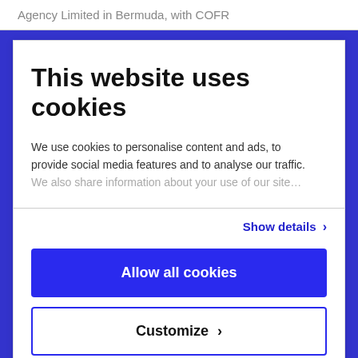Agency Limited in Bermuda, with COFR
This website uses cookies
We use cookies to personalise content and ads, to provide social media features and to analyse our traffic. We also share information about your use of our site
Show details ›
Allow all cookies
Customize ›
Powered by Cookiebot by Usercentrics